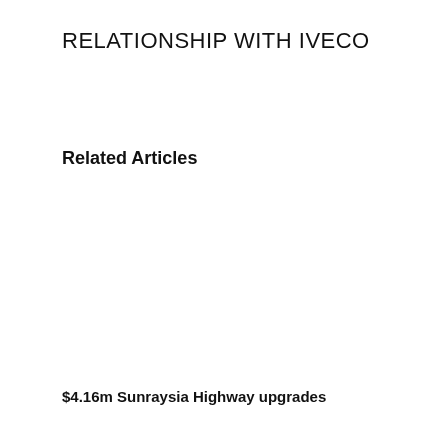RELATIONSHIP WITH IVECO
Related Articles
$4.16m Sunraysia Highway upgrades